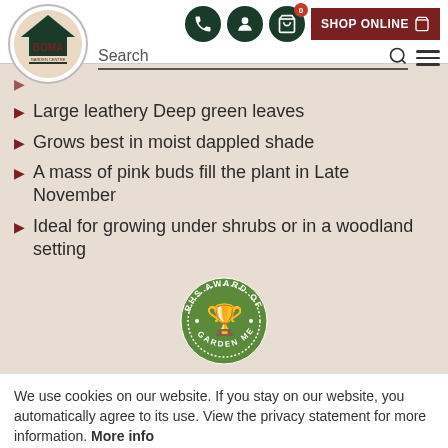[Figure (logo): BOMA Garden Centre logo with house/roof icon in dark green and brown circular badge]
Large leathery Deep green leaves
Grows best in moist dappled shade
A mass of pink buds fill the plant in Late November
Ideal for growing under shrubs or in a woodland setting
[Figure (logo): RHS Award of Garden Merit circular green badge with trophy icon]
We use cookies on our website. If you stay on our website, you automatically agree to its use. View the privacy statement for more information. More info
Sure!